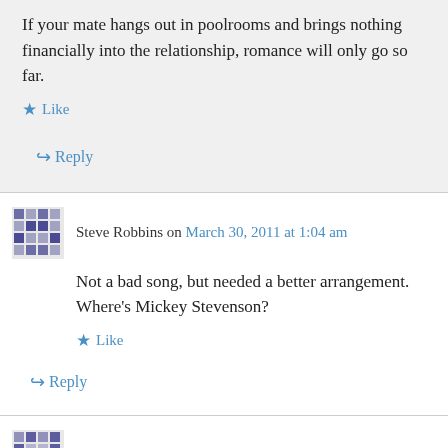If your mate hangs out in poolrooms and brings nothing financially into the relationship, romance will only go so far.
Like
Reply
Steve Robbins on March 30, 2011 at 1:04 am
Not a bad song, but needed a better arrangement. Where's Mickey Stevenson?
Like
Reply
bogart4017 on June 7, 2013 at 3:38 pm